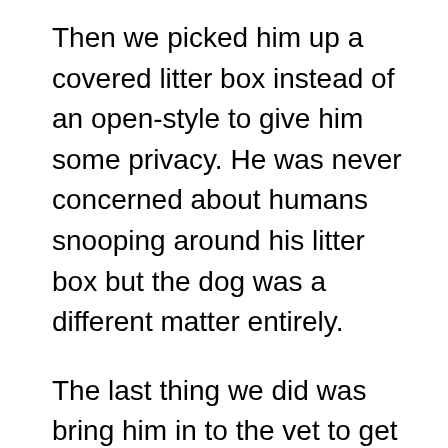Then we picked him up a covered litter box instead of an open-style to give him some privacy. He was never concerned about humans snooping around his litter box but the dog was a different matter entirely.
The last thing we did was bring him in to the vet to get him a checkup. It turned out that he had developed a urinary tract infection and needed to be put on a special diet until it cleared up.
These 3 things helped put a stop to our cat peeing on the carpet but not before he'd done a significant amount of damage to the floors. This is why it's so important to take action as soon as you